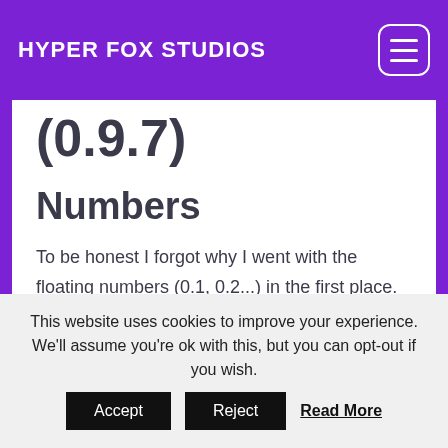HYPER FOX STUDIOS
(0.9.7)
Numbers
To be honest I forgot why I went with the floating numbers (0.1, 0.2...) in the first place. Only when I started displaying damage numbers it kind of started bothering me. Dots and commas just don't belong on the screen. They unnecessarily increase the size
This website uses cookies to improve your experience. We'll assume you're ok with this, but you can opt-out if you wish. Accept Reject Read More